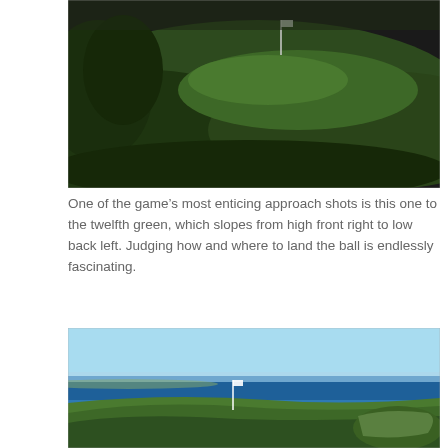[Figure (photo): Aerial/ground-level photo of a golf course green with rolling hills, dark green grass, trees on the left, and a flag pin visible in the distance against a dark sky.]
One of the game's most enticing approach shots is this one to the twelfth green, which slopes from high front right to low back left. Judging how and where to land the ball is endlessly fascinating.
[Figure (photo): Aerial/ground-level photo of a coastal golf course with a green fairway, ocean and blue sky in the background, a flag pin visible, and bunker details on the right side.]